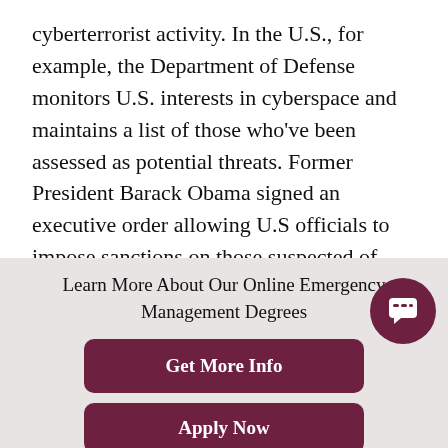cyberterrorist activity. In the U.S., for example, the Department of Defense monitors U.S. interests in cyberspace and maintains a list of those who've been assessed as potential threats. Former President Barack Obama signed an executive order allowing U.S officials to impose sanctions on those suspected of participation in cyberterrorism against the country.
Additionally, governments may provide guidance to businesses and local municipalities, equipping them wit best practices for enforcing strong encryption and
Learn More About Our Online Emergency Management Degrees
Get More Info
Apply Now